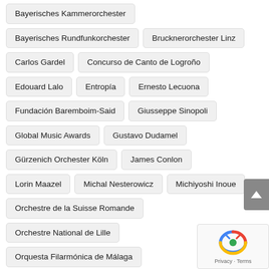Bayerisches Kammerorchester
Bayerisches Rundfunkorchester
Brucknerorchester Linz
Carlos Gardel
Concurso de Canto de Logroño
Edouard Lalo
Entropía
Ernesto Lecuona
Fundación Baremboim-Said
Giusseppe Sinopoli
Global Music Awards
Gustavo Dudamel
Gürzenich Orchester Köln
James Conlon
Lorin Maazel
Michal Nesterowicz
Michiyoshi Inoue
Orchestre de la Suisse Romande
Orchestre National de Lille
Orquesta Filarmónica de Málaga
Orquesta Joven de Andalucía
Orquesta Nacional de España